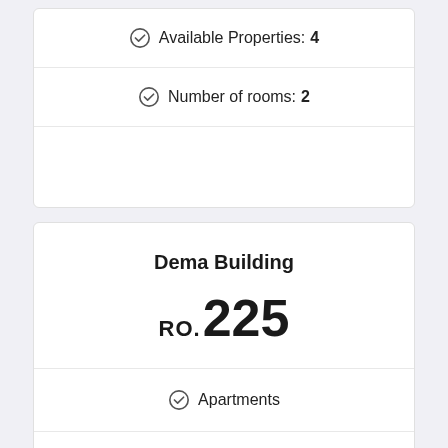Available Properties: 4
Number of rooms: 2
Dema Building
RO.225
Apartments
Total Properties: 8